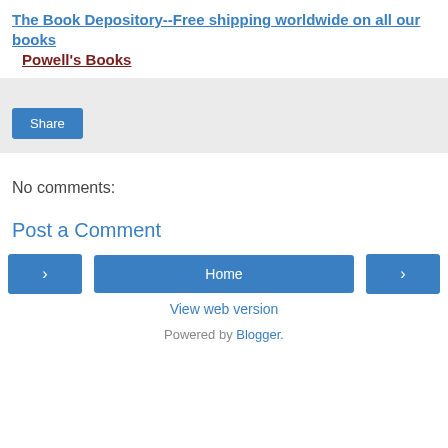The Book Depository--Free shipping worldwide on all our books
Powell's Books
[Figure (other): Share button widget area with light gray background]
No comments:
Post a Comment
< Home > navigation buttons
View web version
Powered by Blogger.